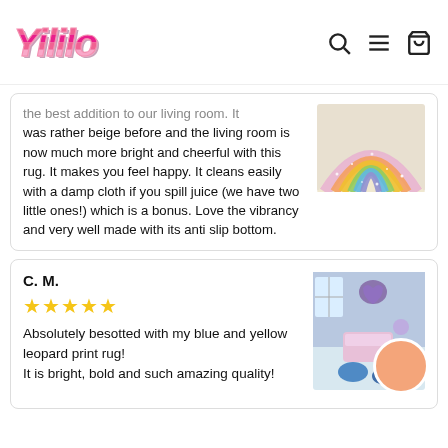Yililo [navigation icons: search, menu, cart]
the best addition to our living room. It was rather beige before and the living room is now much more bright and cheerful with this rug. It makes you feel happy. It cleans easily with a damp cloth if you spill juice (we have two little ones!) which is a bonus. Love the vibrancy and very well made with its anti slip bottom.
[Figure (photo): Colorful glitter rainbow rug with sections of pink, orange, gold, green, blue]
C. M.
★★★★★
Absolutely besotted with my blue and yellow leopard print rug!
It is bright, bold and such amazing quality!
[Figure (photo): Room with blue and purple decor, heart-shaped rugs, with a peach circular chat bubble overlay]